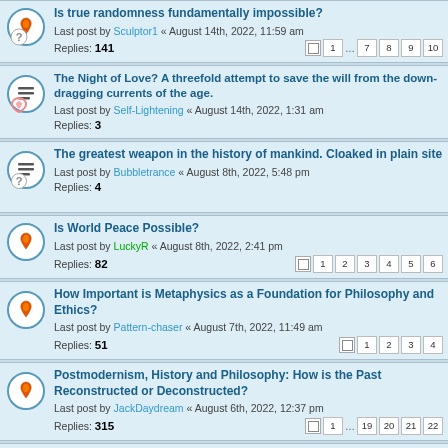Is true randomness fundamentally impossible? Last post by Sculptor1 « August 14th, 2022, 11:59 am Replies: 141
The Night of Love? A threefold attempt to save the will from the down-dragging currents of the age. Last post by Self-Lightening « August 14th, 2022, 1:31 am Replies: 3
The greatest weapon in the history of mankind. Cloaked in plain site Last post by Bubbletrance « August 8th, 2022, 5:48 pm Replies: 4
Is World Peace Possible? Last post by LuckyR « August 8th, 2022, 2:41 pm Replies: 82
How Important is Metaphysics as a Foundation for Philosophy and Ethics? Last post by Pattern-chaser « August 7th, 2022, 11:49 am Replies: 51
Postmodernism, History and Philosophy: How is the Past Reconstructed or Deconstructed? Last post by JackDaydream « August 6th, 2022, 12:37 pm Replies: 315
Principle of Sufficient Reason: Trichotomy? Last post by 3017Metaphysician « August 5th, 2022, 2:26 pm Replies: 139